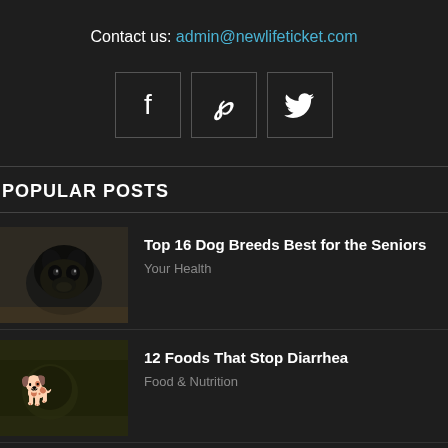Contact us: admin@newlifeticket.com
[Figure (other): Three social media icon buttons: Facebook (f), Pinterest (p), Twitter (bird)]
POPULAR POSTS
[Figure (photo): Black French Bulldog lying down, looking at camera]
Top 16 Dog Breeds Best for the Seniors
Your Health
[Figure (photo): Dark olive/green toned photo, appears to show a dog or animal in low light]
12 Foods That Stop Diarrhea
Food & Nutrition
Diverticulosis & Diverticulitis – Foods to Eat and